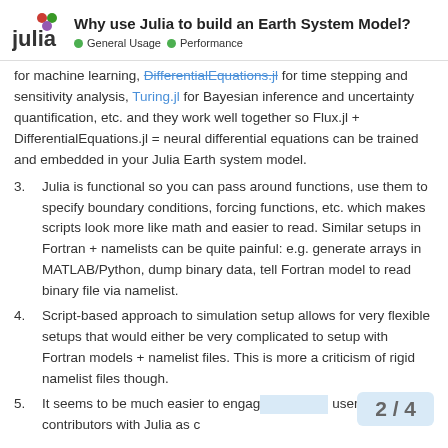Why use Julia to build an Earth System Model? — General Usage | Performance
for machine learning, DifferentialEquations.jl for time stepping and sensitivity analysis, Turing.jl for Bayesian inference and uncertainty quantification, etc. and they work well together so Flux.jl + DifferentialEquations.jl = neural differential equations can be trained and embedded in your Julia Earth system model.
3. Julia is functional so you can pass around functions, use them to specify boundary conditions, forcing functions, etc. which makes scripts look more like math and easier to read. Similar setups in Fortran + namelists can be quite painful: e.g. generate arrays in MATLAB/Python, dump binary data, tell Fortran model to read binary file via namelist.
4. Script-based approach to simulation setup allows for very flexible setups that would either be very complicated to setup with Fortran models + namelist files. This is more a criticism of rigid namelist files though.
5. It seems to be much easier to engage users and contributors with Julia as c...
2 / 4